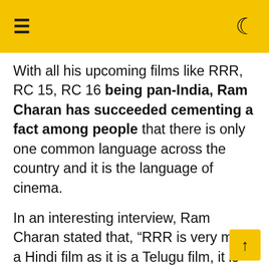≡ ☾
With all his upcoming films like RRR, RC 15, RC 16 being pan-India, Ram Charan has succeeded cementing a fact among people that there is only one common language across the country and it is the language of cinema.
In an interesting interview, Ram Charan stated that, "RRR is very much a Hindi film as it is a Telugu film, it is pan-India film," the actor explains, "Today, thanks to efforts by a lot of filmmakers, especially Rajamouli, the gates of this industry have opened. We have stopped being regional and we have become a part of one big Indian film industry, the barriers are broken. So, as and when an opportunity comes, why not, I will do any film. The scale of RRR, and how many languages the film will release in will break all barriers. It is all